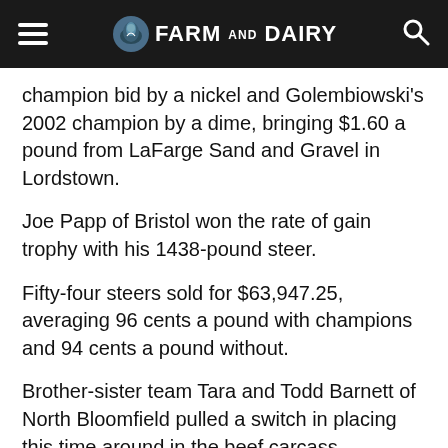Farm and Dairy
champion bid by a nickel and Golembiowski's 2002 champion by a dime, bringing $1.60 a pound from LaFarge Sand and Gravel in Lordstown.
Joe Papp of Bristol won the rate of gain trophy with his 1438-pound steer.
Fifty-four steers sold for $63,947.25, averaging 96 cents a pound with champions and 94 cents a pound without.
Brother-sister team Tara and Todd Barnett of North Bloomfield pulled a switch in placing this time around in the beef carcass competition.
Tara Barnett moved up to the grand champion spot with her